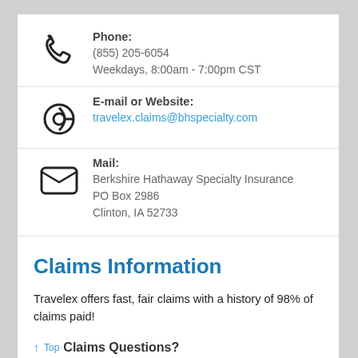Phone:
(855) 205-6054
Weekdays, 8:00am - 7:00pm CST
E-mail or Website:
travelex.claims@bhspecialty.com
Mail:
Berkshire Hathaway Specialty Insurance
PO Box 2986
Clinton, IA 52733
Claims Information
Travelex offers fast, fair claims with a history of 98% of claims paid!
Claims Questions?